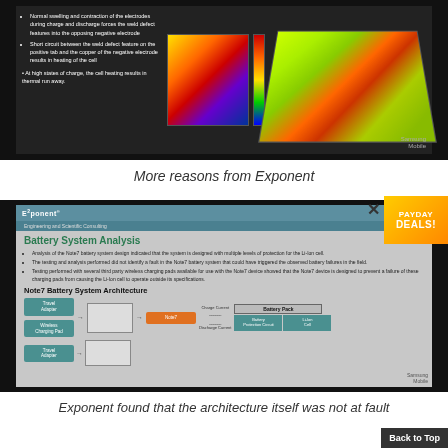[Figure (screenshot): Slide screenshot showing thermal analysis of battery electrode defects with heatmap visualizations and bullet points about weld defect features causing short circuits and thermal runaway]
More reasons from Exponent
[Figure (screenshot): Exponent slide titled 'Battery System Analysis' with bullet points about Note7 battery system design analysis and a Note7 Battery System Architecture diagram]
Exponent found that the architecture itself was not at fault